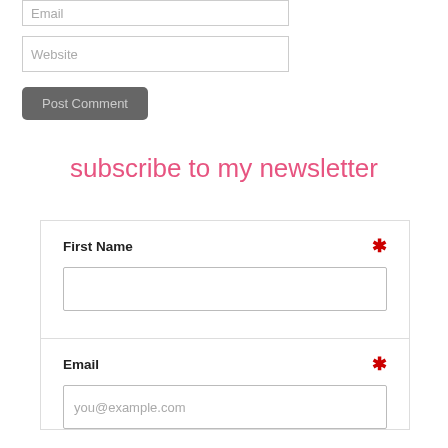[Figure (screenshot): Email input field with placeholder text 'Email']
[Figure (screenshot): Website input field with placeholder text 'Website']
[Figure (screenshot): Post Comment button]
subscribe to my newsletter
First Name * [input field]
Email * [input field with placeholder: you@example.com]